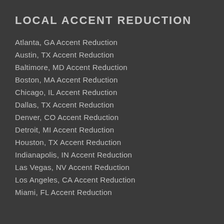LOCAL ACCENT REDUCTION
Atlanta, GA Accent Reduction
Austin, TX Accent Reduction
Baltimore, MD Accent Reduction
Boston, MA Accent Reduction
Chicago, IL Accent Reduction
Dallas, TX Accent Reduction
Denver, CO Accent Reduction
Detroit, MI Accent Reduction
Houston, TX Accent Reduction
Indianapolis, IN Accent Reduction
Las Vegas, NV Accent Reduction
Los Angeles, CA Accent Reduction
Miami, FL Accent Reduction